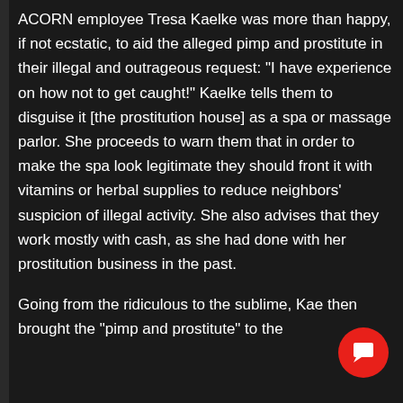ACORN employee Tresa Kaelke was more than happy, if not ecstatic, to aid the alleged pimp and prostitute in their illegal and outrageous request: "I have experience on how not to get caught!" Kaelke tells them to disguise it [the prostitution house] as a spa or massage parlor. She proceeds to warn them that in order to make the spa look legitimate they should front it with vitamins or herbal supplies to reduce neighbors' suspicion of illegal activity. She also advises that they work mostly with cash, as she had done with her prostitution business in the past.
Going from the ridiculous to the sublime, Kae then brought the "pimp and prostitute" to the